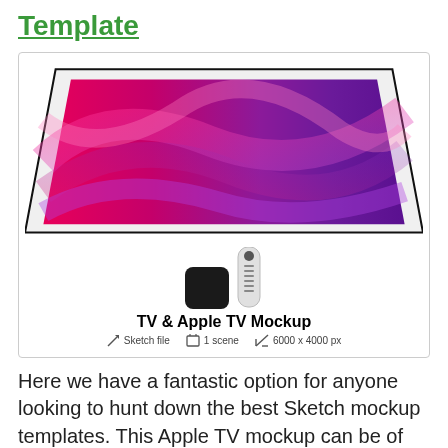Template
[Figure (illustration): TV & Apple TV Mockup product card showing a wide-screen TV with colorful pink and purple wallpaper, an Apple TV box, a Siri Remote, title 'TV & Apple TV Mockup', and specs: Sketch file, 1 scene, 6000 x 4000 px]
Here we have a fantastic option for anyone looking to hunt down the best Sketch mockup templates. This Apple TV mockup can be of great use for graphic designers in